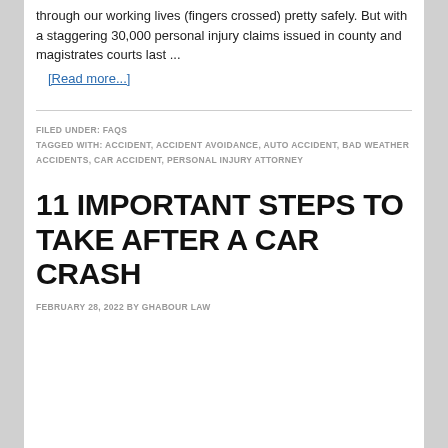through our working lives (fingers crossed) pretty safely. But with a staggering 30,000 personal injury claims issued in county and magistrates courts last ...
[Read more...]
FILED UNDER: FAQS
TAGGED WITH: ACCIDENT, ACCIDENT AVOIDANCE, AUTO ACCIDENT, BAD WEATHER ACCIDENTS, CAR ACCIDENT, PERSONAL INJURY ATTORNEY
11 IMPORTANT STEPS TO TAKE AFTER A CAR CRASH
FEBRUARY 28, 2022 BY GHABOUR LAW